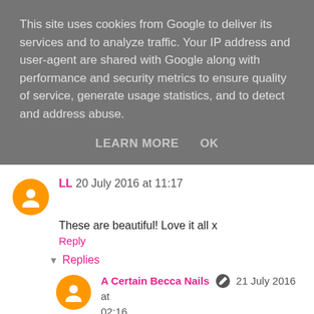This site uses cookies from Google to deliver its services and to analyze traffic. Your IP address and user-agent are shared with Google along with performance and security metrics to ensure quality of service, generate usage statistics, and to detect and address abuse.
LEARN MORE   OK
LL  20 July 2016 at 11:17
These are beautiful! Love it all x
Reply
Replies
A Certain Becca Nails  21 July 2016 at 02:16
Thank you lovely x
Reply